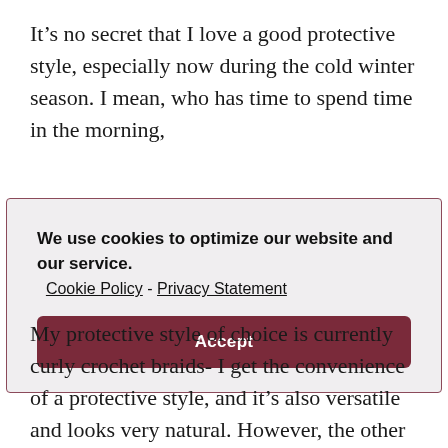It’s no secret that I love a good protective style, especially now during the cold winter season. I mean, who has time to spend time in the morning,
We use cookies to optimize our website and our service.  Cookie Policy - Privacy Statement

Accept
My protective style of choice is currently curly crochet braids- I get the convenience of a protective style, and it’s also versatile and looks very natural. However, the other night I was on the phone with